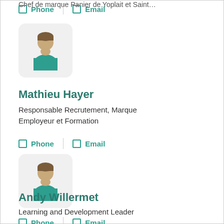Chef de marque Panier de Yoplait et Saint…
Phone  Email
[Figure (illustration): Avatar icon of a person with brown hair and teal shirt on a light gray rounded rectangle background]
Mathieu Hayer
Responsable Recrutement, Marque Employeur et Formation
Phone  Email
[Figure (illustration): Avatar icon of a person with brown hair and teal shirt on a light gray rounded rectangle background]
Andy Willermet
Learning and Development Leader
Phone  Email